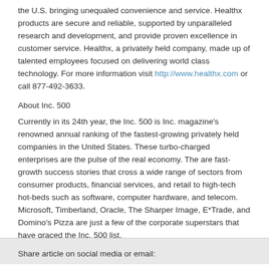the U.S. bringing unequaled convenience and service. Healthx products are secure and reliable, supported by unparalleled research and development, and provide proven excellence in customer service. Healthx, a privately held company, made up of talented employees focused on delivering world class technology. For more information visit http://www.healthx.com or call 877-492-3633.
About Inc. 500
Currently in its 24th year, the Inc. 500 is Inc. magazine's renowned annual ranking of the fastest-growing privately held companies in the United States. These turbo-charged enterprises are the pulse of the real economy. The are fast-growth success stories that cross a wide range of sectors from consumer products, financial services, and retail to high-tech hot-beds such as software, computer hardware, and telecom. Microsoft, Timberland, Oracle, The Sharper Image, E*Trade, and Domino's Pizza are just a few of the corporate superstars that have graced the Inc. 500 list.
# # #
Share article on social media or email: